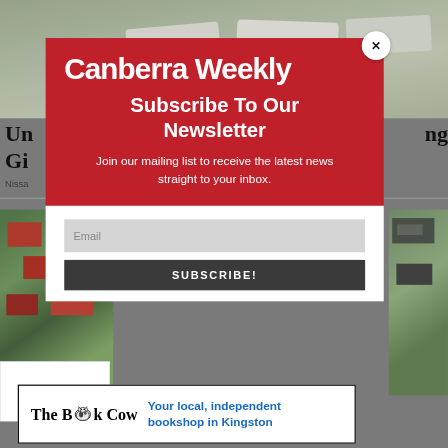[Figure (screenshot): Background: aerial/overhead photo of parked cars at top, aerial view of residential houses at bottom-left and bottom-right, partially visible behind a modal overlay popup.]
Canberra Weekly
Subscribe To Our Newsletter
Join our mailing list to receive the latest news straight to your inbox.
[Figure (screenshot): Email input field (greyed out, placeholder text 'Email') and a dark grey SUBSCRIBE! button below it.]
[Figure (logo): The Book Cow logo with cow illustration and tagline 'Your local, independent bookshop in Kingston']